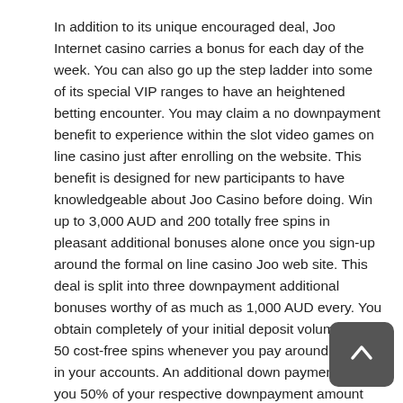In addition to its unique encouraged deal, Joo Internet casino carries a bonus for each day of the week. You can also go up the step ladder into some of its special VIP ranges to have an heightened betting encounter. You may claim a no downpayment benefit to experience within the slot video games on line casino just after enrolling on the website. This benefit is designed for new participants to have knowledgeable about Joo Casino before doing. Win up to 3,000 AUD and 200 totally free spins in pleasant additional bonuses alone once you sign-up around the formal on line casino Joo web site. This deal is split into three downpayment additional bonuses worthy of as much as 1,000 AUD every. You obtain completely of your initial deposit volume plus 50 cost-free spins whenever you pay around 30 AUD in your accounts. An additional down payment earns you 50% of your respective downpayment amount and 50 free of charge spins, while the next provides you with 50Per cent of your deposit sum and 100 free spins. You can even get regular bonus deals each day when you make a minimum repayment or use Joo Gambling establishment bonus codes at checkout. Casino Joo